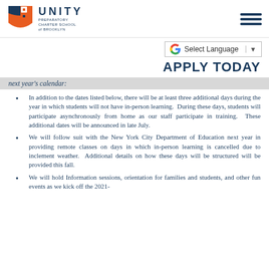Unity Preparatory Charter School of Brooklyn — APPLY TODAY
next year's calendar:
In addition to the dates listed below, there will be at least three additional days during the year in which students will not have in-person learning. During these days, students will participate asynchronously from home as our staff participate in training. These additional dates will be announced in late July.
We will follow suit with the New York City Department of Education next year in providing remote classes on days in which in-person learning is cancelled due to inclement weather. Additional details on how these days will be structured will be provided this fall.
We will hold Information sessions, orientation for families and students, and other fun events as we kick off the 2021-